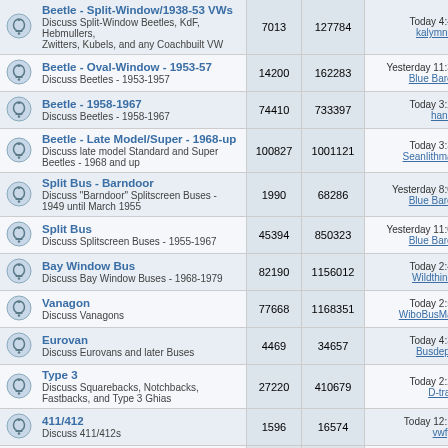|  | Forum | Threads | Posts | Last Post |
| --- | --- | --- | --- | --- |
|  | Beetle - Split-Window/1938-53 VWs
Discuss Split-Window Beetles, KdF, Hebmullers, Zwitters, Kubels, and any Coachbuilt VW | 7013 | 127784 | Today 4:43 am
kalymnos |
|  | Beetle - Oval-Window - 1953-57
Discuss Beetles - 1953-1957 | 14200 | 162283 | Yesterday 11:37 pm
Blue Baron |
|  | Beetle - 1958-1967
Discuss Beetles - 1958-1967 | 74410 | 733397 | Today 3:28 am
hanby |
|  | Beetle - Late Model/Super - 1968-up
Discuss late model Standard and Super Beetles - 1968 and up | 100827 | 1001121 | Today 3:35 am
Seanlithman |
|  | Split Bus - Barndoor
Discuss "Barndoor" Splitscreen Buses - 1949 until March 1955 | 1990 | 68286 | Yesterday 8:04 pm
Blue Baron |
|  | Split Bus
Discuss Splitscreen Buses - 1955-1967 | 45394 | 850323 | Yesterday 11:09 pm
Blue Baron |
|  | Bay Window Bus
Discuss Bay Window Buses - 1968-1979 | 82190 | 1156012 | Today 2:48 am
Wildthings |
|  | Vanagon
Discuss Vanagons | 77668 | 1168351 | Today 2:59 am
WiboBusMan |
|  | Eurovan
Discuss Eurovans and later Buses | 4469 | 34657 | Today 4:34 am
Busdepot |
|  | Type 3
Discuss Squarebacks, Notchbacks, Fastbacks, and Type 3 Ghias | 27220 | 410679 | Today 2:21 am
D-train |
|  | 411/412
Discuss 411/412s | 1596 | 16574 | Today 12:14 am
vwfye |
|  | Ghia | 24632 | 282262 | Today 4:58 am |